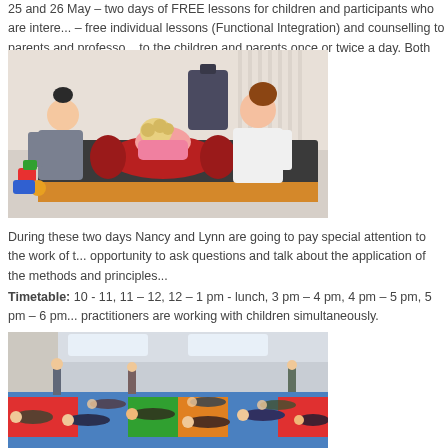25 and 26 May – two days of FREE lessons for children and participants who are interested – free individual lessons (Functional Integration) and counselling to parents and professionals to the children and parents once or twice a day. Both parents and professionals can bene...
[Figure (photo): A child in a pink shirt lying over a red cylindrical bolster on a dark mat. Two adults assist the child — one in casual clothes with a bun hairstyle on the left, and one in a white top on the right. Colorful toys are visible on the left side. The setting appears to be a therapy or movement session room.]
During these two days Nancy and Lynn are going to pay special attention to the work of the opportunity to ask questions and talk about the application of the methods and principles
Timetable: 10 - 11, 11 – 12, 12 – 1 pm - lunch, 3 pm – 4 pm, 4 pm – 5 pm, 5 pm – 6 pm practitioners are working with children simultaneously.
[Figure (photo): A large group of people lying on their backs on colorful foam mats on the floor of a spacious room. The participants appear to be engaged in a group movement or relaxation exercise. The room has skylights and open space.]